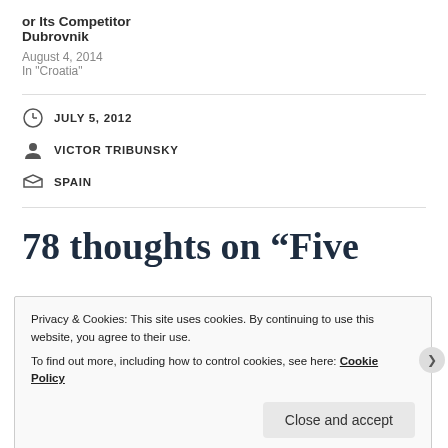or Its Competitor Dubrovnik
August 4, 2014
In "Croatia"
JULY 5, 2012
VICTOR TRIBUNSKY
SPAIN
78 thoughts on “Five
Privacy & Cookies: This site uses cookies. By continuing to use this website, you agree to their use.
To find out more, including how to control cookies, see here: Cookie Policy
Close and accept